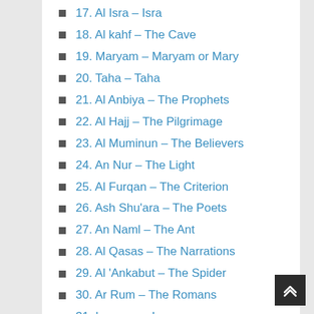17. Al Isra – Isra
18. Al kahf – The Cave
19. Maryam – Maryam or Mary
20. Taha – Taha
21. Al Anbiya – The Prophets
22. Al Hajj – The Pilgrimage
23. Al Muminun – The Believers
24. An Nur – The Light
25. Al Furqan – The Criterion
26. Ash Shu'ara – The Poets
27. An Naml – The Ant
28. Al Qasas – The Narrations
29. Al 'Ankabut – The Spider
30. Ar Rum – The Romans
31. Luqman – Luqman